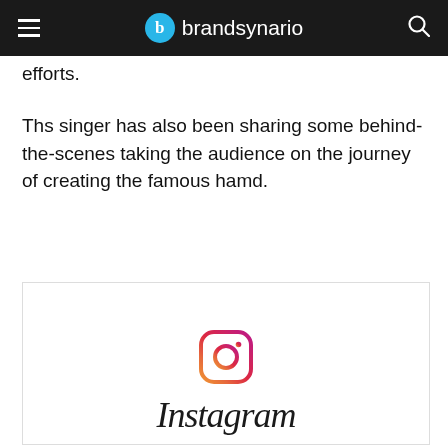brandsynario
efforts.
Ths singer has also been sharing some behind-the-scenes taking the audience on the journey of creating the famous hamd.
[Figure (screenshot): Embedded Instagram post placeholder showing Instagram logo icon and wordmark 'Instagram' in italic serif font, inside a bordered white box]